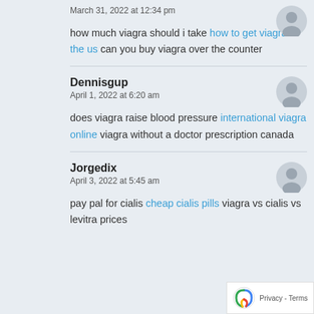March 31, 2022 at 12:34 pm
how much viagra should i take how to get viagra in the us can you buy viagra over the counter
Dennisgup
April 1, 2022 at 6:20 am
does viagra raise blood pressure international viagra online viagra without a doctor prescription canada
Jorgedix
April 3, 2022 at 5:45 am
pay pal for cialis cheap cialis pills viagra vs cialis vs levitra prices